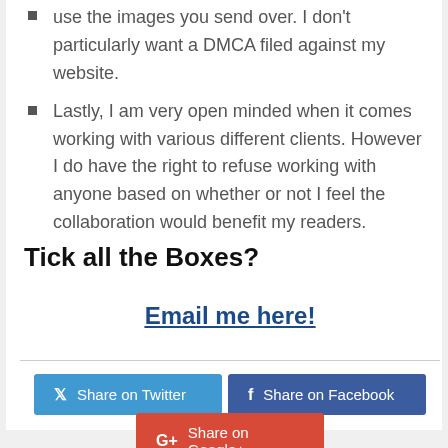use the images you send over. I don't particularly want a DMCA filed against my website.
Lastly, I am very open minded when it comes working with various different clients. However I do have the right to refuse working with anyone based on whether or not I feel the collaboration would benefit my readers.
Tick all the Boxes?
Email me here!
[Figure (infographic): Social sharing buttons: Share on Twitter (blue), Share on Facebook (dark blue), Share on Google+ (red)]